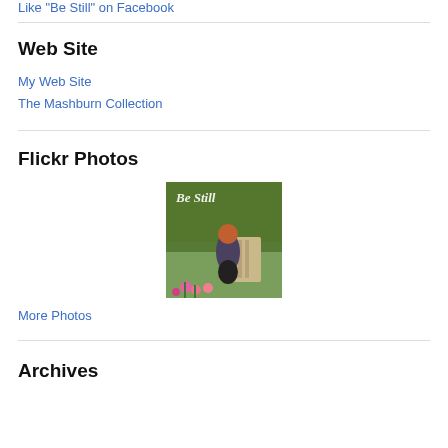Like "Be Still" on Facebook
Web Site
My Web Site
The Mashburn Collection
Flickr Photos
[Figure (photo): A person sitting in a garden chair outdoors, with plants and text overlay reading 'Be Still']
More Photos
Archives